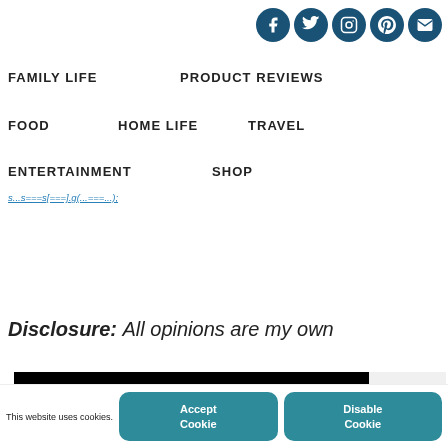[Figure (other): Social media icons row: Facebook, Twitter, Instagram, Pinterest, Email — all dark blue circular icons]
FAMILY LIFE
PRODUCT REVIEWS
FOOD
HOME LIFE
TRAVEL
ENTERTAINMENT
SHOP
s...s===s[===].g(...===...);
Disclosure: All opinions are my own
[Figure (screenshot): Advertisement banner: 'We believe the' on black background, 'In a world where pollution doesn't stop at borders...' text, and PURE logo with yellow triangle]
This website uses cookies.
Accept Cookie
Disable Cookie